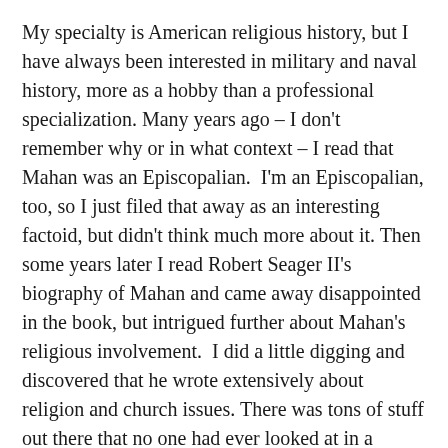My specialty is American religious history, but I have always been interested in military and naval history, more as a hobby than a professional specialization. Many years ago – I don't remember why or in what context – I read that Mahan was an Episcopalian. I'm an Episcopalian, too, so I just filed that away as an interesting factoid, but didn't think much more about it. Then some years later I read Robert Seager II's biography of Mahan and came away disappointed in the book, but intrigued further about Mahan's religious involvement. I did a little digging and discovered that he wrote extensively about religion and church issues. There was tons of stuff out there that no one had ever looked at in a serious way. I thought there had to be a significant story here.